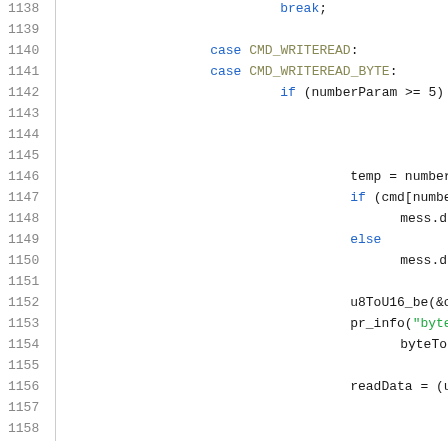Code listing lines 1138-1158 showing C switch-case with CMD_WRITEREAD handling